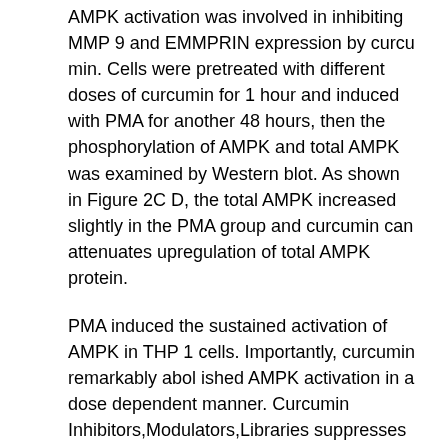AMPK activation was involved in inhibiting MMP 9 and EMMPRIN expression by curcu min. Cells were pretreated with different doses of curcumin for 1 hour and induced with PMA for another 48 hours, then the phosphorylation of AMPK and total AMPK was examined by Western blot. As shown in Figure 2C D, the total AMPK increased slightly in the PMA group and curcumin can attenuates upregulation of total AMPK protein.
PMA induced the sustained activation of AMPK in THP 1 cells. Importantly, curcumin remarkably abol ished AMPK activation in a dose dependent manner. Curcumin Inhibitors,Modulators,Libraries suppresses MAPK and PKC pathways in PMA induced THP 1 cells Previous studies from other groups and our group indicate that PMA promotes Inhibitors,Modulators,Libraries the level of EMMPRIN and Inhibitors,Modulators,Libraries MMP 9 through activating MAPK signaling pathways. PMA also is a strong inducer of protein kinase C, pkc sig nal paly a role during PMA induced cell differentiation and adhension. Thus, we wondered whether the reduced EMMPRIN expression was through the MAPK or PKC